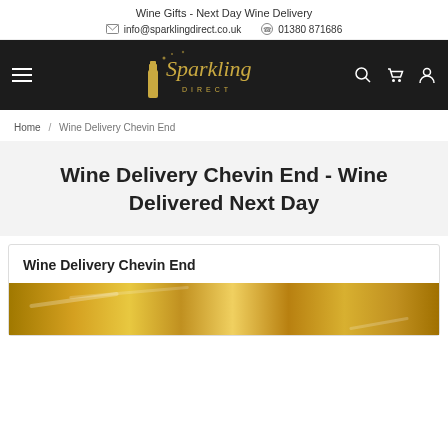Wine Gifts - Next Day Wine Delivery
info@sparklingdirect.co.uk   01380 871686
[Figure (logo): Sparkling Direct logo in gold italic script on dark background]
Home / Wine Delivery Chevin End
Wine Delivery Chevin End - Wine Delivered Next Day
Wine Delivery Chevin End
[Figure (photo): Close-up photo of golden wine bottles]